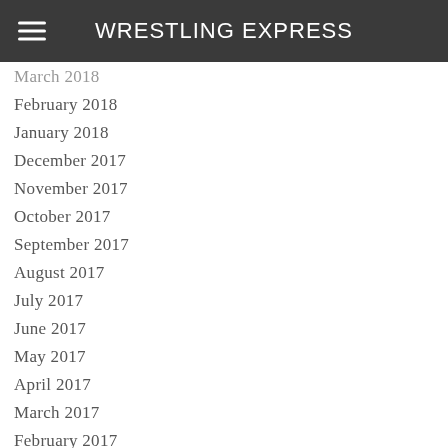WRESTLING EXPRESS
March 2018
February 2018
January 2018
December 2017
November 2017
October 2017
September 2017
August 2017
July 2017
June 2017
May 2017
April 2017
March 2017
February 2017
January 2017
December 2016
November 2016
October 2016
September 2016